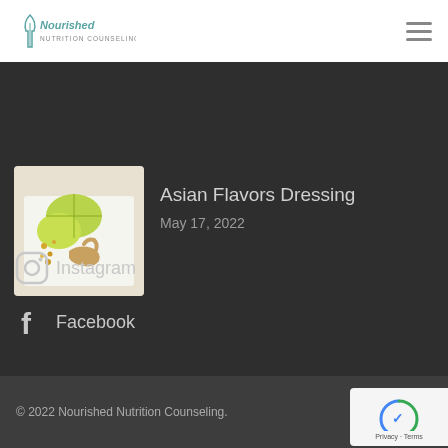Nourished Nutrition Counseling — navigation header with logo and hamburger menu
[Figure (photo): Food photo showing lime wedges, ginger root, and seeds on a white cutting board]
Asian Flavors Dressing
May 17, 2022
Instagram
Facebook
© 2022 Nourished Nutrition Counseling.